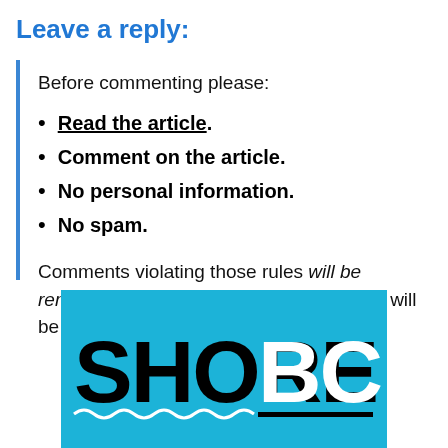Leave a reply:
Before commenting please:
Read the article.
Comment on the article.
No personal information.
No spam.
Comments violating those rules will be removed. Comments that don't add value will be removed.
[Figure (logo): SHORE BCN logo on teal/cyan background with wave decorations]